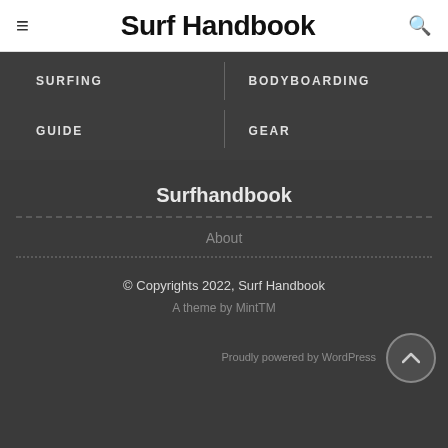≡  Surf Handbook  🔍
SURFING
BODYBOARDING
GUIDE
GEAR
Surfhandbook
About
© Copyrights 2022, Surf Handbook
A theme by MintTM
Proudly powered by WordPress